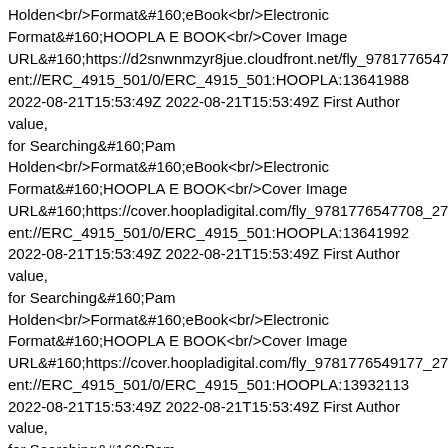Holden<br/>Format&#160;eBook<br/>Electronic Format&#160;HOOPLA E BOOK<br/>Cover Image URL&#160;https://d2snwnmzyr8jue.cloudfront.net/fly_9781776547... ent://ERC_4915_501/0/ERC_4915_501:HOOPLA:13641988 2022-08-21T15:53:49Z 2022-08-21T15:53:49Z First Author value, for Searching&#160;Pam Holden<br/>Format&#160;eBook<br/>Electronic Format&#160;HOOPLA E BOOK<br/>Cover Image URL&#160;https://cover.hoopladigital.com/fly_9781776547708_270... ent://ERC_4915_501/0/ERC_4915_501:HOOPLA:13641992 2022-08-21T15:53:49Z 2022-08-21T15:53:49Z First Author value, for Searching&#160;Pam Holden<br/>Format&#160;eBook<br/>Electronic Format&#160;HOOPLA E BOOK<br/>Cover Image URL&#160;https://cover.hoopladigital.com/fly_9781776549177_270... ent://ERC_4915_501/0/ERC_4915_501:HOOPLA:13932113 2022-08-21T15:53:49Z 2022-08-21T15:53:49Z First Author value, for Searching&#160;Pam Holden<br/>Format&#160;eBook<br/>Electronic Format&#160;HOOPLA E BOOK<br/>Cover Image URL&#160;https://d2snwnmzyr8jue.cloudfront.net/fly_9781776549... ent://ERC_4915_501/0/ERC_4915_501:HOOPLA:14276088 2022-08-21T15:53:49Z 2022-08-21T15:53:49Z First Author value, for Searching&#160;Pam Holden<br/>Format&#160;eBook<br/>Electronic Format&#160;HOOPLA E BOOK<br/>Cover Image...